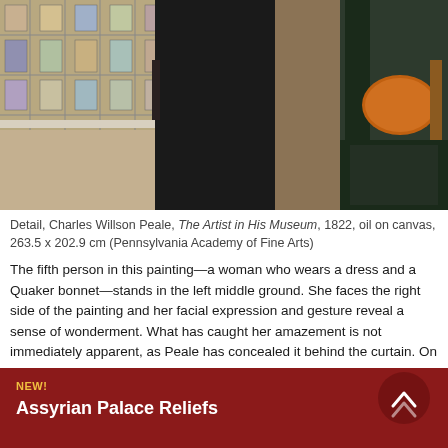[Figure (photo): Detail of Charles Willson Peale painting showing interior of a museum with paintings on walls and figures including a man in a dark coat in the foreground and people in background]
Detail, Charles Willson Peale, The Artist in His Museum, 1822, oil on canvas, 263.5 x 202.9 cm (Pennsylvania Academy of Fine Arts)
The fifth person in this painting—a woman who wears a dress and a Quaker bonnet—stands in the left middle ground. She faces the right side of the painting and her facial expression and gesture reveal a sense of wonderment. What has caught her amazement is not immediately apparent, as Peale has concealed it behind the curtain. On closer inspection, however, it is clear that in the middle of the room is the mastodon skeleton Peale and his family excavated and reconstructed earlier in the nineteenth century. He
NEW!
Assyrian Palace Reliefs